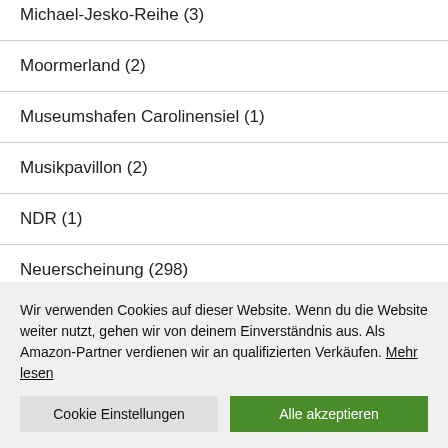Michael-Jesko-Reihe (3)
Moormerland (2)
Museumshafen Carolinensiel (1)
Musikpavillon (2)
NDR (1)
Neuerscheinung (298)
Wir verwenden Cookies auf dieser Website. Wenn du die Website weiter nutzt, gehen wir von deinem Einverständnis aus. Als Amazon-Partner verdienen wir an qualifizierten Verkäufen. Mehr lesen
Cookie Einstellungen | Alle akzeptieren